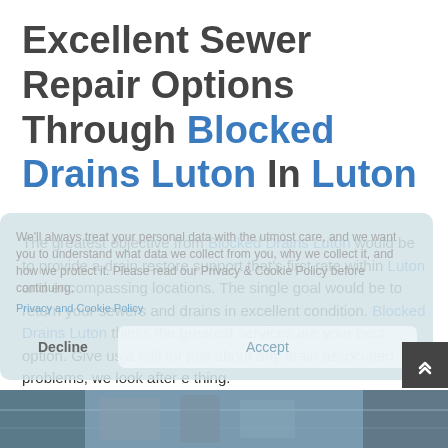Excellent Sewer Repair Options Through Blocked Drains Luton In Luton
The greatest objective from Blocked Drains Luton would be to provide a drain restore support that's first rate within Luton and encompassing locations. The single goal would be to return your sewers and drains in excellent condition. Blocked Drains Luton thinks the greatest services are your best option. Give us a call for just about any drain associated problems, we look after e thing.
[Figure (other): Cookie consent overlay with privacy policy text, Decline and Accept buttons]
[Figure (photo): Photo strip at the bottom showing drain/sewer pipes]